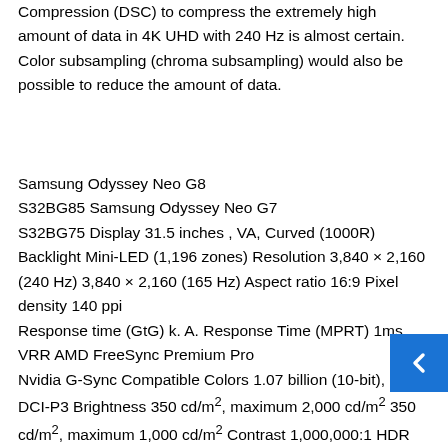Compression (DSC) to compress the extremely high amount of data in 4K UHD with 240 Hz is almost certain. Color subsampling (chroma subsampling) would also be possible to reduce the amount of data.
Samsung Odyssey Neo G8 S32BG85 Samsung Odyssey Neo G7 S32BG75 Display 31.5 inches , VA, Curved (1000R) Backlight Mini-LED (1,196 zones) Resolution 3,840 × 2,160 (240 Hz) 3,840 × 2,160 (165 Hz) Aspect ratio 16:9 Pixel density 140 ppi Response time (GtG) k. A. Response Time (MPRT) 1ms VRR AMD FreeSync Premium Pro Nvidia G-Sync Compatible Colors 1.07 billion (10-bit), 95% DCI-P3 Brightness 350 cd/m², maximum 2,000 cd/m² 350 cd/m², maximum 1,000 cd/m² Contrast 1,000,000:1 HDR DisplayHDR 1,000 ? Connections 1 × DP 1.4 2 × HDMI 2.1 2 × USB 3.0 Audio headphone output Ergonomics tiltable